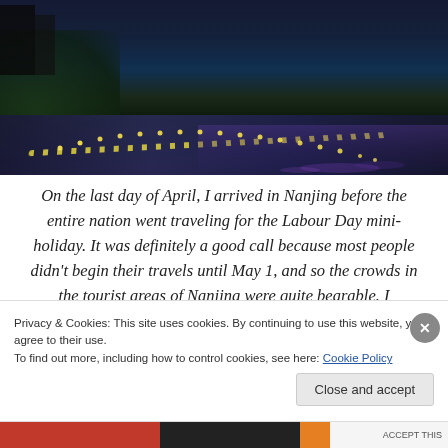[Figure (photo): Night-time aerial/overhead photograph of a river (Qinhuai River) with illuminated lights lining the curved riverbank path, dense dark foliage on the left, and purple/blue reflections in the water on the right. Dark atmospheric urban night scene.]
On the last day of April, I arrived in Nanjing before the entire nation went traveling for the Labour Day mini-holiday. It was definitely a good call because most people didn't begin their travels until May 1, and so the crowds in the tourist areas of Nanjing were quite bearable. I especially enjoyed hanging around the Qinhuai River, which has quite a lovely atmosphere when it wasn't...
Privacy & Cookies: This site uses cookies. By continuing to use this website, you agree to their use.
To find out more, including how to control cookies, see here: Cookie Policy
Close and accept